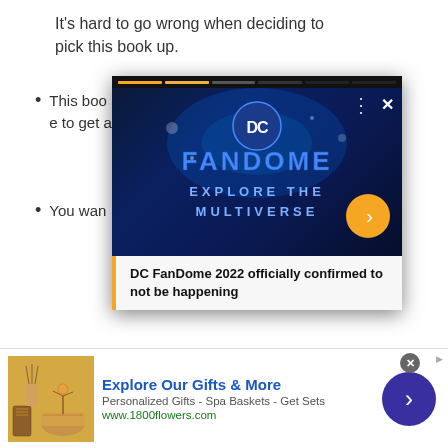It's hard to go wrong when deciding to pick this book up.
This book... Batman ... to get a y...
You wan...
[Figure (screenshot): DC FanDome video popup overlay with progress bar, DC FanDome 2022 branding, and news caption: 'DC FanDome 2022 officially confirmed to not be happening']
[Figure (infographic): Advertisement banner for 1800flowers.com: 'Explore Our Gifts & More - Personalized Gifts - Spa Baskets - Get Sets - www.1800flowers.com']